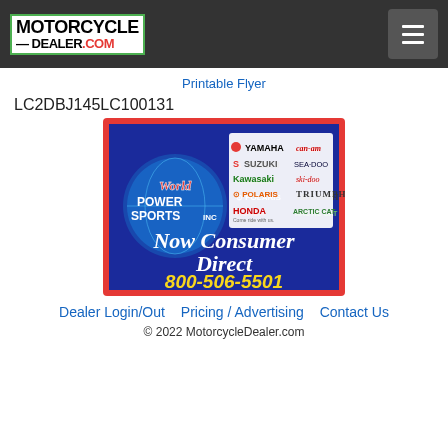MOTORCYCLE DEALER.COM
Printable Flyer
LC2DBJ145LC100131
[Figure (logo): World Power Sports Inc. dealer advertisement showing brand logos (Yamaha, Can-Am, Suzuki, Sea-Doo, Kawasaki, Ski-Doo, Triumph, Polaris, Honda, Arctic Cat) on blue background with red border, text 'Now Consumer Direct' in white italic bold, phone number '800-506-5501' in yellow bold]
Dealer Login/Out   Pricing / Advertising   Contact Us
© 2022 MotorcycleDealer.com